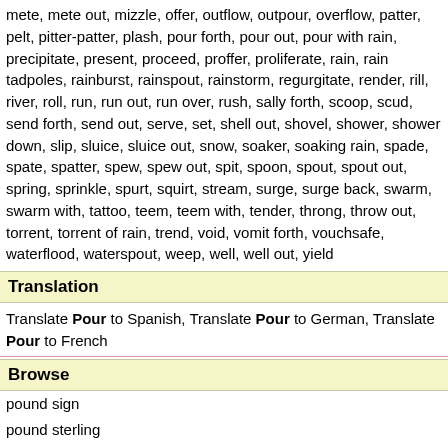mete, mete out, mizzle, offer, outflow, outpour, overflow, patter, pelt, pitter-patter, plash, pour forth, pour out, pour with rain, precipitate, present, proceed, proffer, proliferate, rain, rain tadpoles, rainburst, rainspout, rainstorm, regurgitate, render, rill, river, roll, run, run out, run over, rush, sally forth, scoop, scud, send forth, send out, serve, set, shell out, shovel, shower, shower down, slip, sluice, sluice out, snow, soaker, soaking rain, spade, spate, spatter, spew, spew out, spit, spoon, spout, spout out, spring, sprinkle, spurt, squirt, stream, surge, surge back, swarm, swarm with, tattoo, teem, teem with, tender, throng, throw out, torrent, torrent of rain, trend, void, vomit forth, vouchsafe, waterflood, waterspout, weep, well, well out, yield
Translation
Translate Pour to Spanish, Translate Pour to German, Translate Pour to French
Browse
pound sign
pound sterling
pound up
Pound-breach
pound-foolish
Poundage